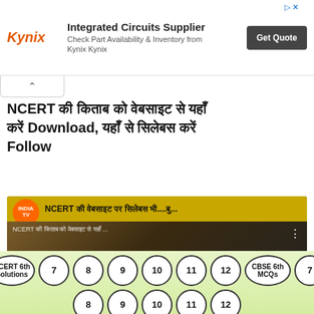[Figure (other): Kynix Integrated Circuits Supplier advertisement banner with orange Kynix logo, ad text 'Check Part Availability & Inventory from Kynix Kynix', and a dark 'Get Quote' button]
NCERT की किताब को वेबसाइट से यहाँ करें Download, यहाँ से सिलेबस करें Follow
[Figure (screenshot): IndiaTV YouTube video thumbnail showing a female news anchor in a studio with text 'NCERT की वेबसाइट पर सिलेबस भी...' in yellow banner, with YouTube play button overlay]
NCERT 6th Solutions
7
8
9
10
11
12
CBSE 6th MCQs
7
8
9
10
11
12